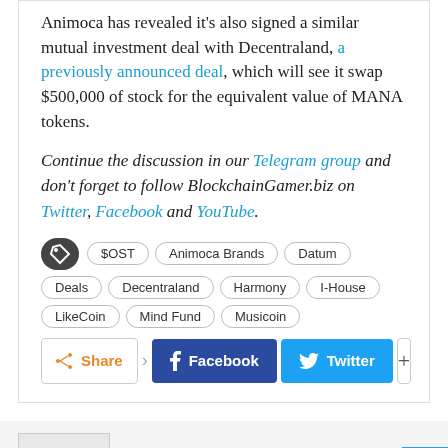Animoca has revealed it's also signed a similar mutual investment deal with Decentraland, a previously announced deal, which will see it swap $500,000 of stock for the equivalent value of MANA tokens.
Continue the discussion in our Telegram group and don't forget to follow BlockchainGamer.biz on Twitter, Facebook and YouTube.
Tags: $OST, Animoca Brands, Datum, Deals, Decentraland, Harmony, I-House, LikeCoin, Mind Fund, Musicoin
Share | Facebook | Twitter | +
Jon Jordan · 468 Posts · 2 Comments